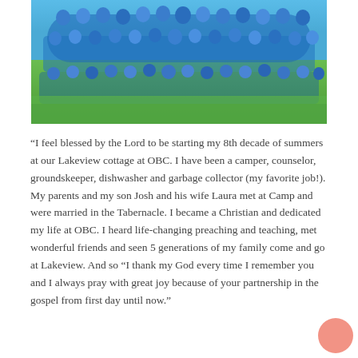[Figure (photo): Group photo of a large crowd of children and adults wearing matching blue t-shirts, seated and standing on a grass field outdoors in bright sunlight.]
“I feel blessed by the Lord to be starting my 8th decade of summers at our Lakeview cottage at OBC. I have been a camper, counselor, groundskeeper, dishwasher and garbage collector (my favorite job!). My parents and my son Josh and his wife Laura met at Camp and were married in the Tabernacle. I became a Christian and dedicated my life at OBC. I heard life-changing preaching and teaching, met wonderful friends and seen 5 generations of my family come and go at Lakeview. And so “I thank my God every time I remember you and I always pray with great joy because of your partnership in the gospel from first day until now.”